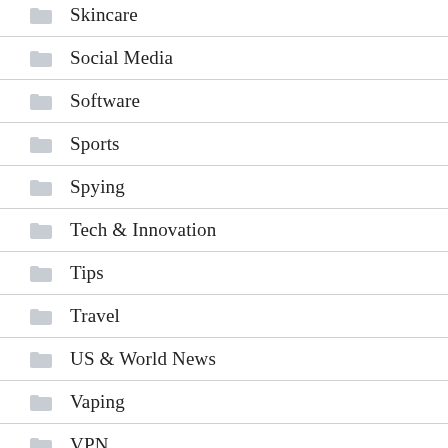Skincare
Social Media
Software
Sports
Spying
Tech & Innovation
Tips
Travel
US & World News
Vaping
VPN